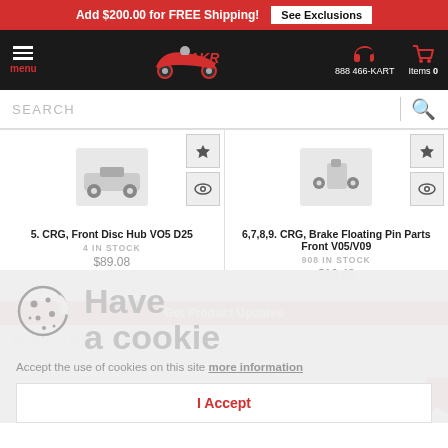Add $200.00 for FREE Shipping! See Exclusions
[Figure (logo): AKR kart racing logo with go-kart graphic on dark navbar. Navigation includes hamburger menu, phone icon with 888 466-KART, and cart icon with Items 0]
SEARCH
5. CRG, Front Disc Hub VO5 D25
4 IN STOCK
$89.08
6,7,8,9. CRG, Brake Floating Pin Parts Front V05/V09
908 IN STOCK
$10.48
Have a cookie
Accept the use of cookies on this site more information
I Accept